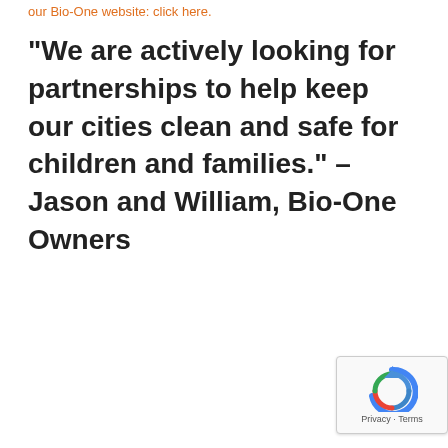our Bio-One website: click here.
“We are actively looking for partnerships to help keep our cities clean and safe for children and families.” – Jason and William, Bio-One Owners
[Figure (logo): Google reCAPTCHA badge with refresh icon and Privacy · Terms text]